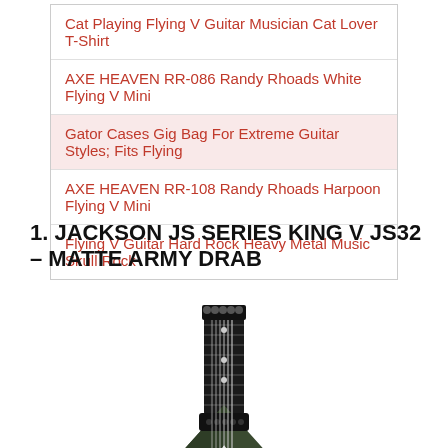Cat Playing Flying V Guitar Musician Cat Lover T-Shirt
AXE HEAVEN RR-086 Randy Rhoads White Flying V Mini
Gator Cases Gig Bag For Extreme Guitar Styles; Fits Flying
AXE HEAVEN RR-108 Randy Rhoads Harpoon Flying V Mini
Flying V Guitar Hard Rock Heavy Metal Music Skull Rock
1. JACKSON JS SERIES KING V JS32 – MATTE ARMY DRAB
[Figure (photo): A Jackson JS Series King V JS32 electric guitar in Matte Army Drab (dark green) finish, showing the V-shaped body, black fretboard with white fret markers, two humbucker pickups, and black hardware.]